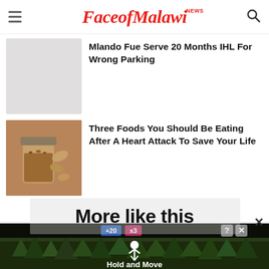FaceofMalawi NEWS
[Figure (photo): Partially visible article thumbnail placeholder (grey/white)]
Mlando Fue Serve 20 Months IHL For Wrong Parking
[Figure (photo): Photo of almond butter in a jar with almonds scattered around]
Three Foods You Should Be Eating After A Heart Attack To Save Your Life
More like this
[Figure (screenshot): Advertisement banner showing 'Hold and Move' with trees background and person icon, with close and help buttons]